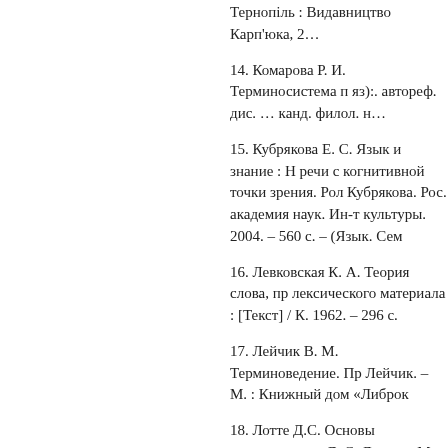Тернопіль : Видавництво Карп'юка, 2…
14. Комарова Р. И. Терминосистема п яз):. автореф. дис. … канд. филол. н…
15. Кубрякова Е. С. Язык и знание : Н речи с когнитивной точки зрения. Рол Кубрякова. Рос. академия наук. Ин-т культуры. 2004. – 560 с. – (Язык. Сем
16. Левковская К. А. Теория слова, пр лексического материала : [Текст] / К. 1962. – 296 с.
17. Лейчик В. М. Терминоведение. Пр Лейчик. – М. : Книжный дом «Либрок
18. Лотте Д.С. Основы построения на Д. С. Лотте. – М. : Издательство Акад
19. Реформатский А. А. Введение в я ред. В. А. Виноградова]. – М. : Аспект
20. Селіванова О. О. Сучасна лінгвіст О. О. Селіванова. – Полтава : Довкіл.
21. С… Б. Ф. Т…